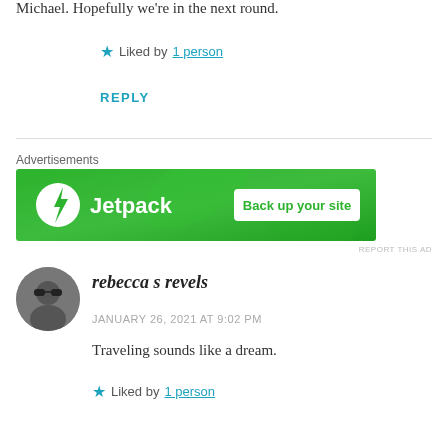Michael. Hopefully we're in the next round.
★ Liked by 1 person
REPLY
Advertisements
[Figure (infographic): Jetpack advertisement banner with green background, Jetpack logo on left and 'Back up your site' button on right]
REPORT THIS AD
rebecca s revels
JANUARY 26, 2021 AT 9:02 PM
Traveling sounds like a dream.
★ Liked by 1 person